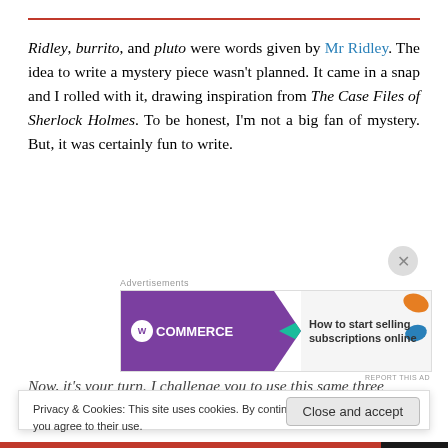Ridley, burrito, and pluto were words given by Mr Ridley. The idea to write a mystery piece wasn't planned. It came in a snap and I rolled with it, drawing inspiration from The Case Files of Sherlock Holmes. To be honest, I'm not a big fan of mystery. But, it was certainly fun to write.
[Figure (other): WooCommerce advertisement banner: purple background with WooCommerce logo and text 'How to start selling subscriptions online']
Now, it's your turn. I challenge you to use this same three
Privacy & Cookies: This site uses cookies. By continuing to use this website, you agree to their use. To find out more, including how to control cookies, see here: Cookie Policy